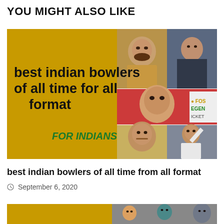YOU MIGHT ALSO LIKE
[Figure (photo): Thumbnail image for article about best indian bowlers of all time for all format, showing a yellow background with text overlay and a photo collage of Indian cricket bowlers on the right side. Text reads: 'best indian bowlers of all time for all format' and 'FOR INDIANS' in green italic.]
best indian bowlers of all time from all format
September 6, 2020
[Figure (photo): Partial thumbnail image showing a yellow background strip with photos of cricket players, partially cropped at the bottom of the page.]